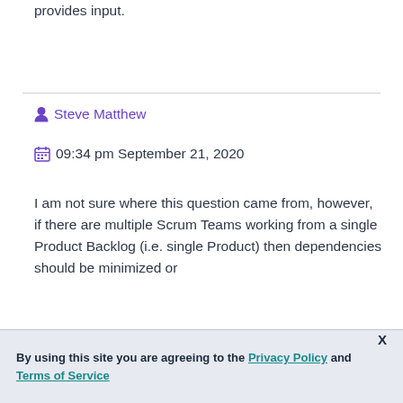provides input.
Steve Matthew
09:34 pm September 21, 2020
I am not sure where this question came from, however, if there are multiple Scrum Teams working from a single Product Backlog (i.e. single Product) then dependencies should be minimized or
By using this site you are agreeing to the Privacy Policy and Terms of Service